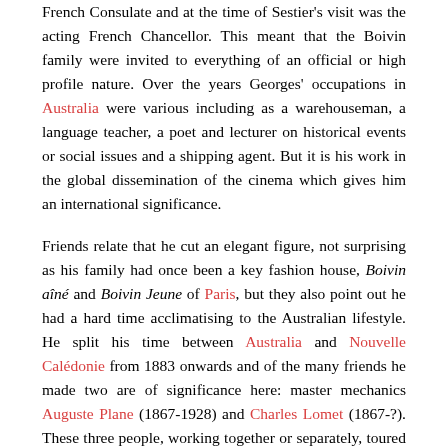French Consulate and at the time of Sestier's visit was the acting French Chancellor. This meant that the Boivin family were invited to everything of an official or high profile nature. Over the years Georges' occupations in Australia were various including as a warehouseman, a language teacher, a poet and lecturer on historical events or social issues and a shipping agent. But it is his work in the global dissemination of the cinema which gives him an international significance.
Friends relate that he cut an elegant figure, not surprising as his family had once been a key fashion house, Boivin aîné and Boivin Jeune of Paris, but they also point out he had a hard time acclimatising to the Australian lifestyle. He split his time between Australia and Nouvelle Calédonie from 1883 onwards and of the many friends he made two are of significance here: master mechanics Auguste Plane (1867-1928) and Charles Lomet (1867-?). These three people, working together or separately, toured their cinematographes throughout Queensland, NSW and Victoria, and more significantly were the first in Nouvelle